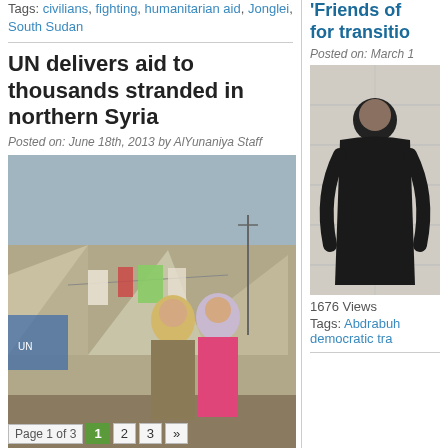Tags: civilians, fighting, humanitarian aid, Jonglei, South Sudan
UN delivers aid to thousands stranded in northern Syria
Posted on: June 18th, 2013 by AlYunaniya Staff
[Figure (photo): Two women in headscarves standing in front of tents in a refugee camp]
1188 Views
Tags: humanitarian aid, Syria
'Friends of for transitio
Posted on: March 1
[Figure (photo): Person in dark clothing standing against a light wall]
1676 Views
Tags: Abdrabuh democratic tra
Page 1 of 3   1   2   3   »